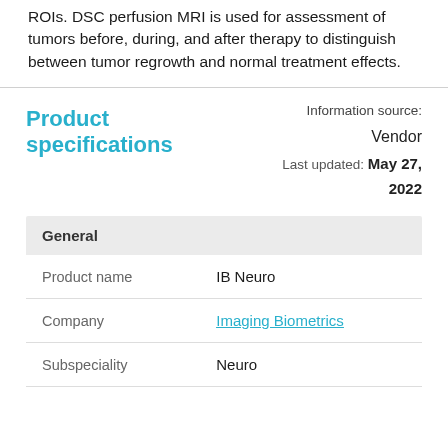ROIs. DSC perfusion MRI is used for assessment of tumors before, during, and after therapy to distinguish between tumor regrowth and normal treatment effects.
Product specifications
Information source: Vendor Last updated: May 27, 2022
|  |  |
| --- | --- |
| Product name | IB Neuro |
| Company | Imaging Biometrics |
| Subspeciality | Neuro |